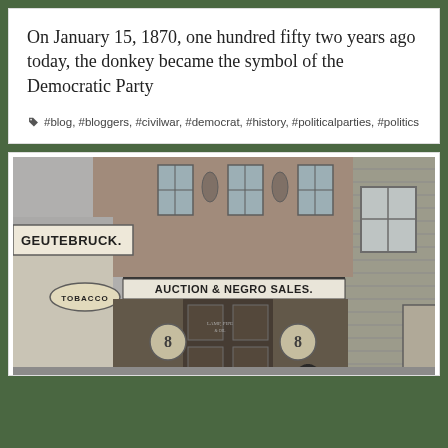On January 15, 1870, one hundred fifty two years ago today, the donkey became the symbol of the Democratic Party
🏷 #blog, #bloggers, #civilwar, #democrat, #history, #politicalparties, #politics
[Figure (photo): Black and white historical photograph of a building storefront with signs reading 'GEUTEBRUCK.' and 'AUCTION & NEGRO SALES.' with a smaller sign reading 'TOBACCO'. The building appears to be from the Civil War era in the American South.]